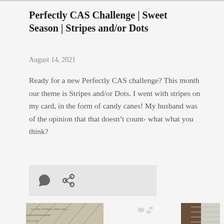Perfectly CAS Challenge | Sweet Season | Stripes and/or Dots
August 14, 2021
Ready for a new Perfectly CAS challenge? This month our theme is Stripes and/or Dots. I went with stripes on my card, in the form of candy canes! My husband was of the opinion that that doesn’t count- what what you think?
[Figure (other): Icon bar with comment bubble icon and share/link icon on light grey background]
[Figure (photo): Bottom portion of a crafting/stamping photo collage showing card-making materials and a white card with paw print stamps]